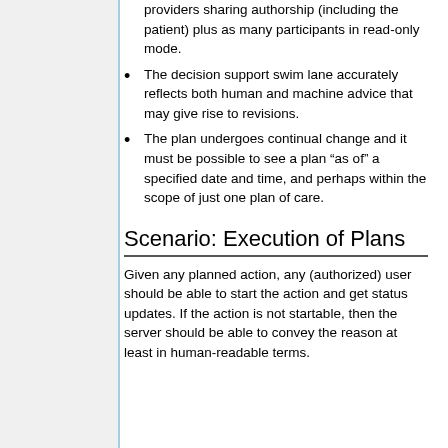providers sharing authorship (including the patient) plus as many participants in read-only mode.
The decision support swim lane accurately reflects both human and machine advice that may give rise to revisions.
The plan undergoes continual change and it must be possible to see a plan “as of” a specified date and time, and perhaps within the scope of just one plan of care.
Scenario: Execution of Plans
Given any planned action, any (authorized) user should be able to start the action and get status updates. If the action is not startable, then the server should be able to convey the reason at least in human-readable terms.